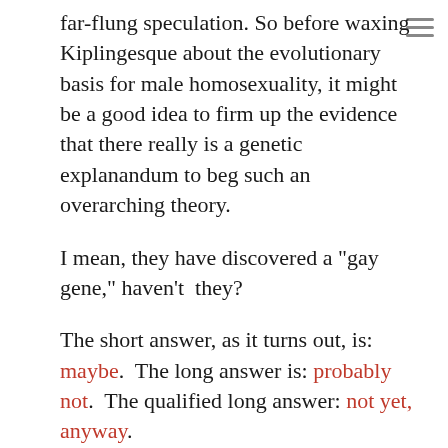far-flung speculation.  So before waxing Kiplingesque about the evolutionary  basis for male homosexuality, it might be a good idea to firm up the evidence that there really is a genetic explanandum to beg such an overarching theory.
I mean, they have discovered a "gay gene," haven't  they?
The short answer, as it turns out, is: maybe.  The long answer is: probably not.  The qualified long answer: not yet, anyway.
A few years ago, you will recall there being a lot of fast and loose media chatter about the the whole business.  The most vocal and prolific proponent of the